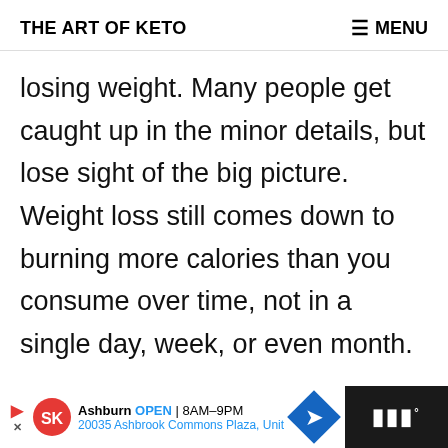THE ART OF KETO   ≡ MENU
losing weight. Many people get caught up in the minor details, but lose sight of the big picture. Weight loss still comes down to burning more calories than you consume over time, not in a single day, week, or even month.

Ketosis may make it easier for some
[Figure (screenshot): Advertisement banner at bottom: Smoothie King ad showing Ashburn OPEN 8AM-9PM, 20035 Ashbrook Commons Plaza, Unit, with navigation arrow icon and weather widget on right side]